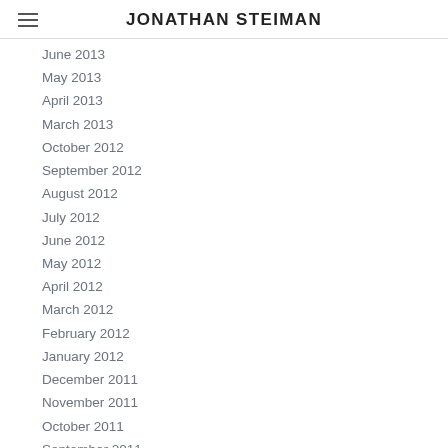JONATHAN STEIMAN
June 2013
May 2013
April 2013
March 2013
October 2012
September 2012
August 2012
July 2012
June 2012
May 2012
April 2012
March 2012
February 2012
January 2012
December 2011
November 2011
October 2011
September 2011
August 2011
July 2011